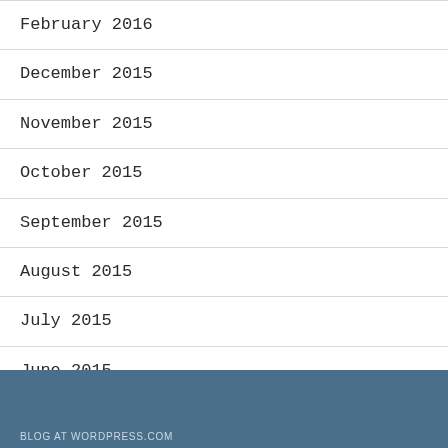February 2016
December 2015
November 2015
October 2015
September 2015
August 2015
July 2015
June 2015
BLOG AT WORDPRESS.COM